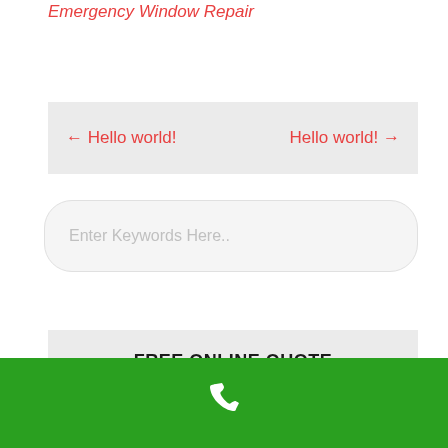Emergency Window Repair
← Hello world!    Hello world! →
Enter Keywords Here..
FREE ONLINE QUOTE
[Figure (other): Green phone bar with white phone icon at the bottom of the page]